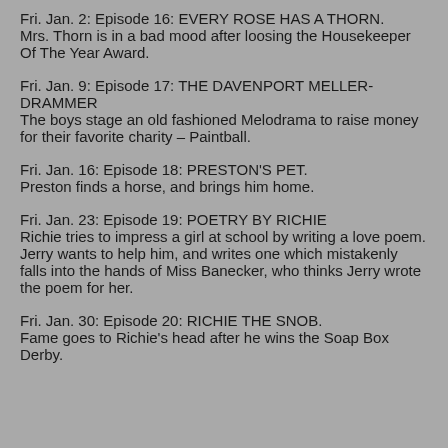Fri. Jan. 2: Episode 16: EVERY ROSE HAS A THORN. Mrs. Thorn is in a bad mood after loosing the Housekeeper Of The Year Award.
Fri. Jan. 9: Episode 17: THE DAVENPORT MELLER-DRAMMER The boys stage an old fashioned Melodrama to raise money for their favorite charity – Paintball.
Fri. Jan. 16: Episode 18: PRESTON'S PET. Preston finds a horse, and brings him home.
Fri. Jan. 23: Episode 19: POETRY BY RICHIE Richie tries to impress a girl at school by writing a love poem. Jerry wants to help him, and writes one which mistakenly falls into the hands of Miss Banecker, who thinks Jerry wrote the poem for her.
Fri. Jan. 30: Episode 20: RICHIE THE SNOB. Fame goes to Richie's head after he wins the Soap Box Derby.